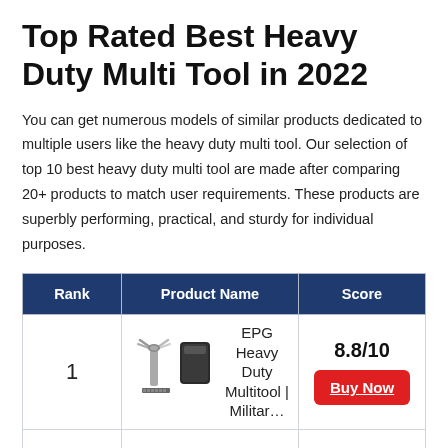Top Rated Best Heavy Duty Multi Tool in 2022
You can get numerous models of similar products dedicated to multiple users like the heavy duty multi tool. Our selection of top 10 best heavy duty multi tool are made after comparing 20+ products to match user requirements. These products are superbly performing, practical, and sturdy for individual purposes.
| Rank | Product Name | Score |
| --- | --- | --- |
| 1 | EPG Heavy Duty Multitool | Militar… | 8.8/10 |